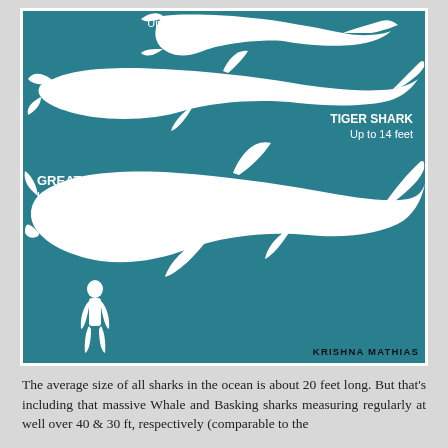[Figure (infographic): Shark size comparison infographic on teal background. Shows silhouettes of sharks from top to bottom: a small shark (up to 9 feet in length) at top, a Tiger Shark (up to 14 feet) in the middle, and a Great White Shark (up to 23 feet) at the bottom, next to a human silhouette for scale. Credit: Krishna Mathias.]
The average size of all sharks in the ocean is about 20 feet long. But that's including that massive Whale and Basking sharks measuring regularly at well over 40 & 30 ft, respectively (comparable to the